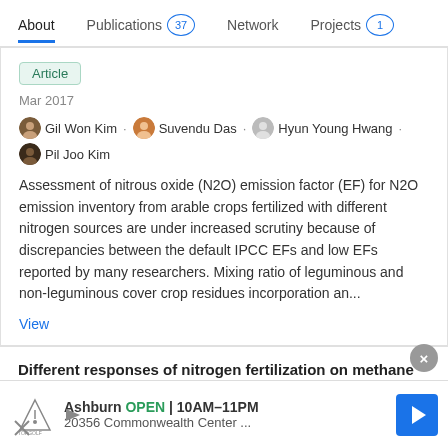About  Publications 37  Network  Projects 1
Article
Mar 2017
Gil Won Kim · Suvendu Das · Hyun Young Hwang · Pil Joo Kim
Assessment of nitrous oxide (N2O) emission factor (EF) for N2O emission inventory from arable crops fertilized with different nitrogen sources are under increased scrutiny because of discrepancies between the default IPCC EFs and low EFs reported by many researchers. Mixing ratio of leguminous and non-leguminous cover crop residues incorporation an...
View
Different responses of nitrogen fertilization on methane emission in rice plant included and excluded soils during cropping season
Advertisement
[Figure (screenshot): Advertisement banner: TopGolf Ashburn OPEN 10AM-11PM, 20356 Commonwealth Center...]